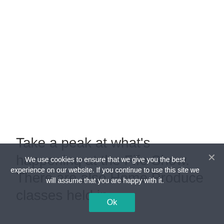Take a peak at what's happening at the Fife Show.
There are also Home Produce classes held in
We use cookies to ensure that we give you the best experience on our website. If you continue to use this site we will assume that you are happy with it.
Ok